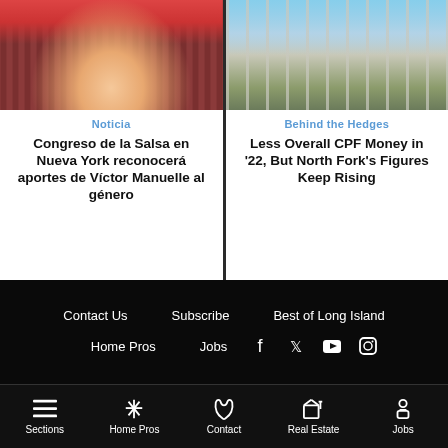[Figure (photo): Photo of a man in white shirt, smiling, in a colorful studio setting]
[Figure (photo): Photo of a wooden deck/porch with outdoor chairs overlooking water]
Noticia
Congreso de la Salsa en Nueva York reconocerá aportes de Víctor Manuelle al género
Behind the Hedges
Less Overall CPF Money in '22, But North Fork's Figures Keep Rising
Contact Us  Subscribe  Best of Long Island  Home Pros  Jobs
Sections  Home Pros  Contact  Real Estate  Jobs